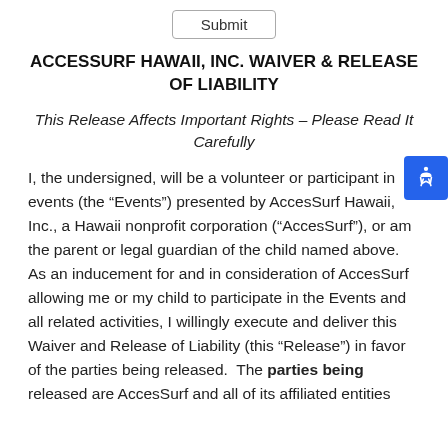[Figure (other): Submit button at top of form]
ACCESSURF HAWAII, INC. WAIVER & RELEASE OF LIABILITY
This Release Affects Important Rights – Please Read It Carefully
I, the undersigned, will be a volunteer or participant in events (the “Events”) presented by AccesSurf Hawaii, Inc., a Hawaii nonprofit corporation (“AccesSurf”), or am the parent or legal guardian of the child named above. As an inducement for and in consideration of AccesSurf allowing me or my child to participate in the Events and all related activities, I willingly execute and deliver this Waiver and Release of Liability (this “Release”) in favor of the parties being released. The parties being released are AccesSurf and all of its affiliated entities